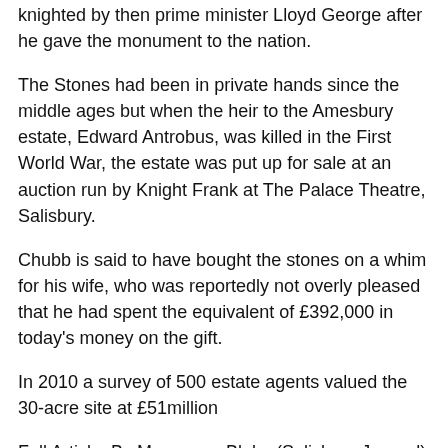knighted by then prime minister Lloyd George after he gave the monument to the nation.
The Stones had been in private hands since the middle ages but when the heir to the Amesbury estate, Edward Antrobus, was killed in the First World War, the estate was put up for sale at an auction run by Knight Frank at The Palace Theatre, Salisbury.
Chubb is said to have bought the stones on a whim for his wife, who was reportedly not overly pleased that he had spent the equivalent of £392,000 in today's money on the gift.
In 2010 a survey of 500 estate agents valued the 30-acre site at £51million
Full Article: By Morwenna Blake (Salisbury Journal) –